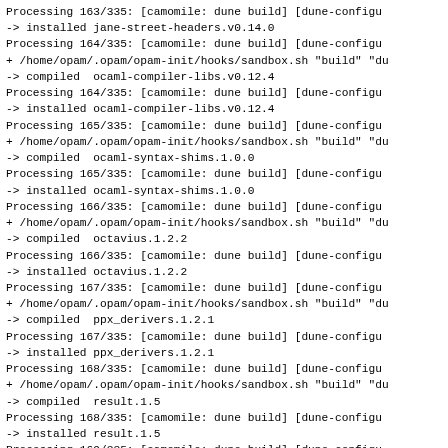Processing 163/335: [camomile: dune build] [dune-configu
-> installed jane-street-headers.v0.14.0
Processing 164/335: [camomile: dune build] [dune-configu
+ /home/opam/.opam/opam-init/hooks/sandbox.sh "build" "du
-> compiled  ocaml-compiler-libs.v0.12.4
Processing 164/335: [camomile: dune build] [dune-configu
-> installed ocaml-compiler-libs.v0.12.4
Processing 165/335: [camomile: dune build] [dune-configu
+ /home/opam/.opam/opam-init/hooks/sandbox.sh "build" "du
-> compiled  ocaml-syntax-shims.1.0.0
Processing 165/335: [camomile: dune build] [dune-configu
-> installed ocaml-syntax-shims.1.0.0
Processing 166/335: [camomile: dune build] [dune-configu
+ /home/opam/.opam/opam-init/hooks/sandbox.sh "build" "du
-> compiled  octavius.1.2.2
Processing 166/335: [camomile: dune build] [dune-configu
-> installed octavius.1.2.2
Processing 167/335: [camomile: dune build] [dune-configu
+ /home/opam/.opam/opam-init/hooks/sandbox.sh "build" "du
-> compiled  ppx_derivers.1.2.1
Processing 167/335: [camomile: dune build] [dune-configu
-> installed ppx_derivers.1.2.1
Processing 168/335: [camomile: dune build] [dune-configu
+ /home/opam/.opam/opam-init/hooks/sandbox.sh "build" "du
-> compiled  result.1.5
Processing 168/335: [camomile: dune build] [dune-configu
-> installed result.1.5
Processing 169/335: [camomile: dune build] [dune-configu
Processing 170/335: [angstrom: dune build] [camomile: du
+ /home/opam/.opam/opam-init/hooks/sandbox.sh "build" "du